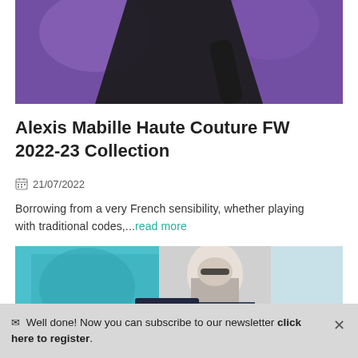[Figure (photo): Fashion runway photo showing a model in a black outfit against a purple background, cropped to show torso and arm]
Alexis Mabille Haute Couture FW 2022-23 Collection
21/07/2022
Borrowing from a very French sensibility, whether playing with traditional codes,...read more
[Figure (photo): Fashion photo showing a model with glasses wearing blue and dark feathered outfit]
✉ Well done! Now you can subscribe to our newsletter click here to register.